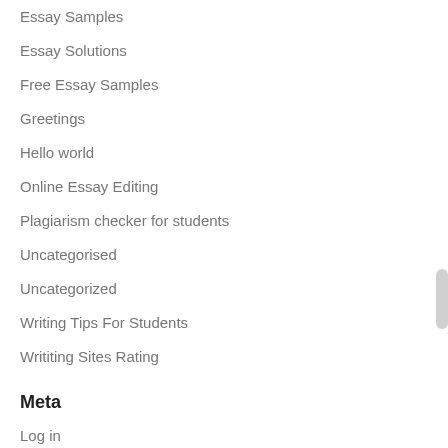Essay Samples
Essay Solutions
Free Essay Samples
Greetings
Hello world
Online Essay Editing
Plagiarism checker for students
Uncategorised
Uncategorized
Writing Tips For Students
Writiting Sites Rating
Meta
Log in
Entries feed